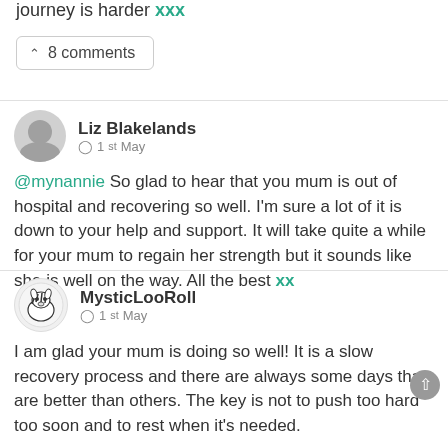journey is harder xxx
▲ 8 comments
Liz Blakelands
🕐 1st May
@mynannie So glad to hear that you mum is out of hospital and recovering so well. I'm sure a lot of it is down to your help and support. It will take quite a while for your mum to regain her strength but it sounds like she is well on the way. All the best xx
MysticLooRoll
🕐 1st May
I am glad your mum is doing so well! It is a slow recovery process and there are always some days that are better than others. The key is not to push too hard too soon and to rest when it's needed.